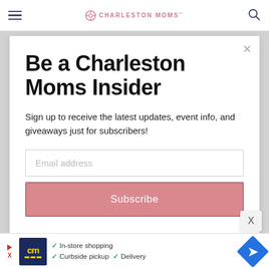Charleston Moms
Be a Charleston Moms Insider
Sign up to receive the latest updates, event info, and giveaways just for subscribers!
[Figure (screenshot): Email address input field with placeholder text 'Email address']
[Figure (screenshot): Subscribe button in dusty rose/pink color]
[Figure (infographic): Advertisement banner showing cm logo with In-store shopping, Curbside pickup, and Delivery options with blue navigation arrow icon]